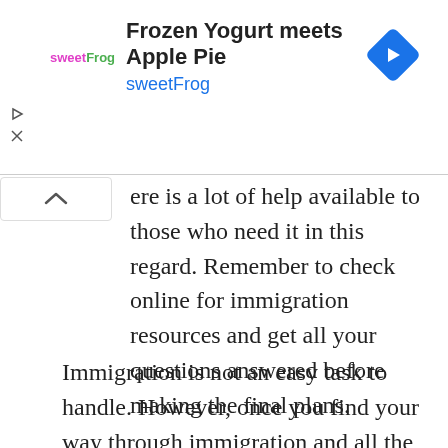[Figure (screenshot): Advertisement banner for sweetFrog frozen yogurt: logo on left, title 'Frozen Yogurt meets Apple Pie' and subtitle 'sweetFrog' in blue, navigation arrow icon on right.]
ere is a lot of help available to those who need it in this regard. Remember to check online for immigration resources and get all your questions answered before making the final plans.
Immigration is not an easy task to handle. However, once you find your way through immigration and all the documentation you will